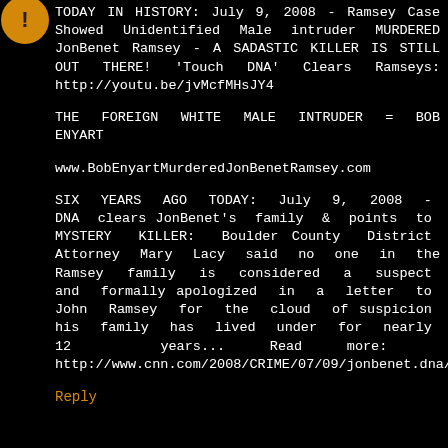[Figure (illustration): Orange circular avatar/icon in top-left corner]
TODAY IN HISTORY: July 9, 2008 - Ramsey Case Showed Unidentified Male intruder MURDERED JonBenet Ramsey - A SADASTIC KILLER IS STILL OUT THERE! 'Touch DNA' Clears Ramseys: http://youtu.be/jvMcfMHsJY4
THE FOREIGN WHITE MALE INTRUDER = BOB ENYART
www.BobEnyartMurderedJonBenetRamsey.com
SIX YEARS AGO TODAY: July 9, 2008 - DNA clears JonBenet's family & points to MYSTERY KILLER: Boulder County District Attorney Mary Lacy said no one in the Ramsey family is considered a suspect and formally apologized in a letter to John Ramsey for the cloud of suspicion his family has lived under for nearly 12 years... Read more: http://www.cnn.com/2008/CRIME/07/09/jonbenet.dna/
Reply